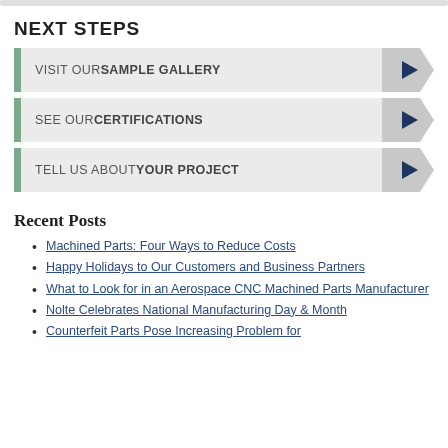NEXT STEPS
VISIT OUR SAMPLE GALLERY
SEE OUR CERTIFICATIONS
TELL US ABOUT YOUR PROJECT
Recent Posts
Machined Parts: Four Ways to Reduce Costs
Happy Holidays to Our Customers and Business Partners
What to Look for in an Aerospace CNC Machined Parts Manufacturer
Nolte Celebrates National Manufacturing Day & Month
Counterfeit Parts Pose Increasing Problem for